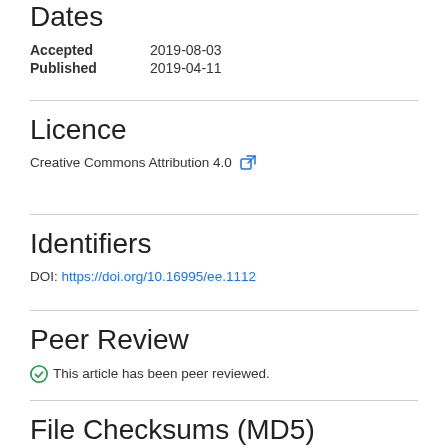Dates
Accepted   2019-08-03
Published   2019-04-11
Licence
Creative Commons Attribution 4.0
Identifiers
DOI: https://doi.org/10.16995/ee.1112
Peer Review
This article has been peer reviewed.
File Checksums (MD5)